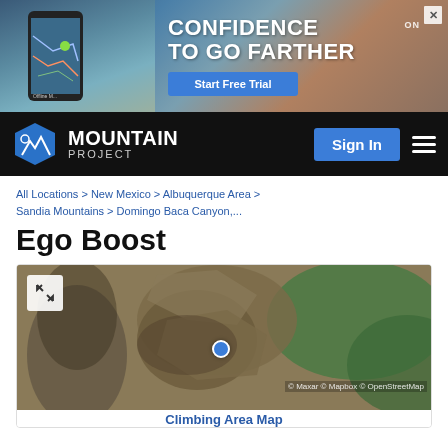[Figure (photo): Advertisement banner for an outdoor/navigation app: 'CONFIDENCE TO GO FARTHER' with a Start Free Trial button, showing a map app on a phone and a hiker in the background.]
[Figure (logo): Mountain Project logo — blue hexagon with mountain/climber icon, text 'MOUNTAIN PROJECT']
Sign In
All Locations > New Mexico > Albuquerque Area > Sandia Mountains > Domingo Baca Canyon,...
Improve This Page ∨
Add To Page ∨
Ego Boost
[Figure (map): Satellite/aerial climbing area map of Ego Boost at Sandia Mountains, showing rocky terrain with a blue location dot marker. Map copyright Maxar, Mapbox, OpenStreetMap.]
Climbing Area Map